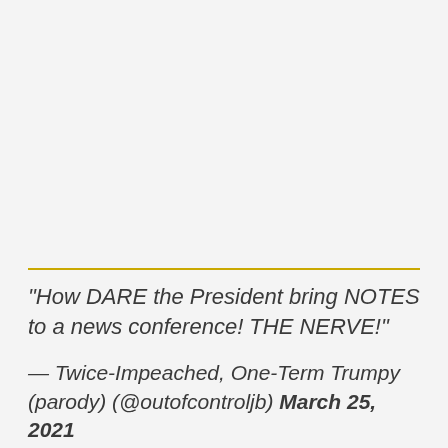"How DARE the President bring NOTES to a news conference! THE NERVE!"
— Twice-Impeached, One-Term Trumpy (parody) (@outofcontroljb) March 25, 2021